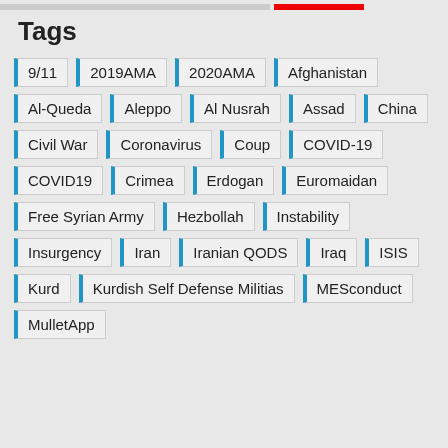Tags
9/11
2019AMA
2020AMA
Afghanistan
Al-Queda
Aleppo
Al Nusrah
Assad
China
Civil War
Coronavirus
Coup
COVID-19
COVID19
Crimea
Erdogan
Euromaidan
Free Syrian Army
Hezbollah
Instability
Insurgency
Iran
Iranian QODS
Iraq
ISIS
Kurd
Kurdish Self Defense Militias
MESconduct
MulletApp